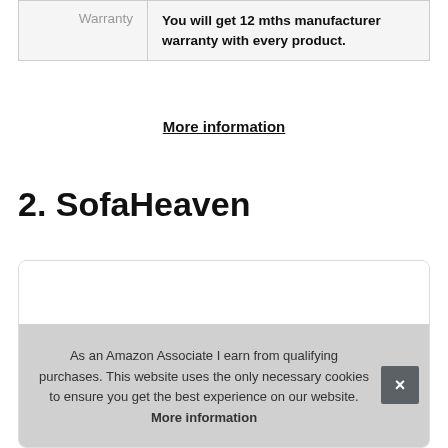|  |  |
| --- | --- |
| Warranty | You will get 12 mths manufacturer warranty with every product. |
More information
2. SofaHeaven
[Figure (photo): Product card showing two dark sofas/chairs at the bottom, partially visible]
As an Amazon Associate I earn from qualifying purchases. This website uses the only necessary cookies to ensure you get the best experience on our website. More information